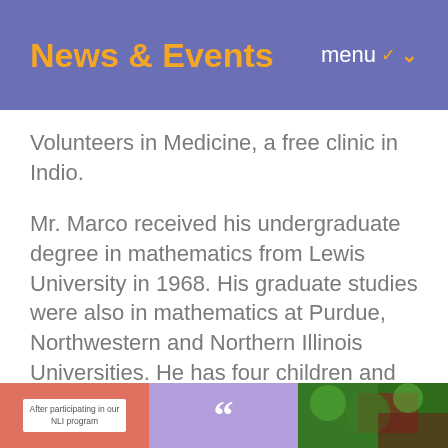News & Events
Volunteers in Medicine, a free clinic in Indio.
Mr. Marco received his undergraduate degree in mathematics from Lewis University in 1968. His graduate studies were also in mathematics at Purdue, Northwestern and Northern Illinois Universities. He has four children and eight grandchildren.
[Figure (screenshot): Footer strip with three panels: left red panel with white card reading 'After participating in our NLI program', center purple panel with white quotation marks, right blue panel with photo of foliage/trees.]